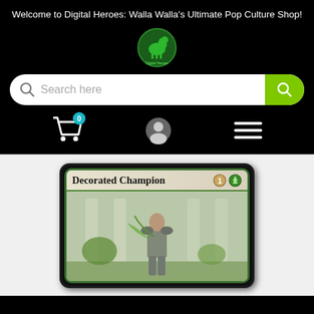Welcome to Digital Heroes: Walla Walla's Ultimate Pop Culture Shop!
[Figure (logo): Digital Heroes circular green logo with horse icon]
[Figure (screenshot): Search bar with magnifying glass icon on left and green search button on right, placeholder text 'Search here']
[Figure (infographic): Navigation icons: shopping cart with badge '0', user profile icon, hamburger menu icon]
[Figure (photo): Magic: The Gathering card - Decorated Champion, cost 1 green, showing armored warrior figure in fantasy setting]